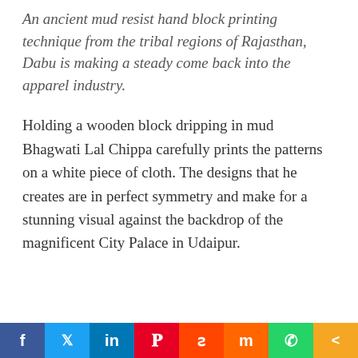An ancient mud resist hand block printing technique from the tribal regions of Rajasthan, Dabu is making a steady come back into the apparel industry.
Holding a wooden block dripping in mud Bhagwati Lal Chippa carefully prints the patterns on a white piece of cloth. The designs that he creates are in perfect symmetry and make for a stunning visual against the backdrop of the magnificent City Palace in Udaipur. I... Chippa an artist from Akala...
Social share bar: Facebook, Twitter, LinkedIn, Pinterest, Reddit, Mix, WhatsApp, Share